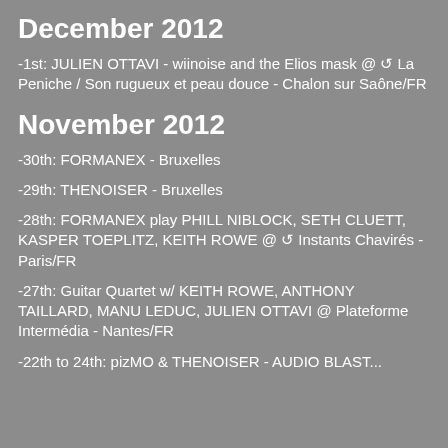December 2012
-1st: JULIEN OTTAVI - wiinoise and the Elios mask @ ↺ La Peniche / Son rugueux et peau douce - Chalon sur Saône/FR
November 2012
-30th: FORMANEX - Bruxelles
-29th: THENOISER - Bruxelles
-28th: FORMANEX play PHILL NIBLOCK, SETH CLUETT, KASPER TOEPLITZ, KEITH ROWE @ ↺ Instants Chavirés - Paris/FR
-27th: Guitar Quartet w/ KEITH ROWE, ANTHONY TAILLARD, MANU LEDUC, JULIEN OTTAVI @ Plateforme Intermédia - Nantes/FR
-22th to 24th: pizMO & THENOISER - AUDIO BLAST...